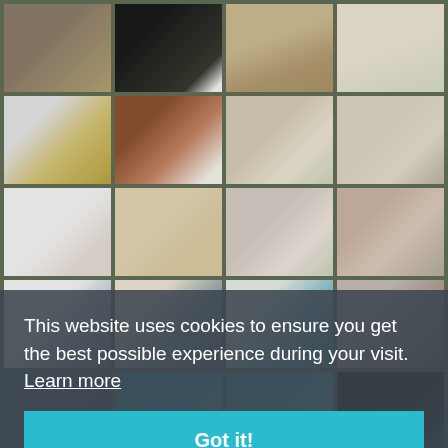[Figure (photo): Grid of villa/property interior and exterior photos: living room, kitchen, terrace, bedroom, bathroom, pool areas. A cookie consent overlay appears in the lower portion of the page with text and a 'Got it!' button.]
This website uses cookies to ensure you get the best possible experience during your visit.  Learn more
Got it!